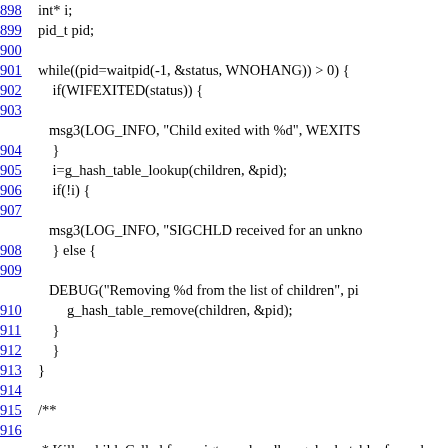Code listing lines 898–918 showing C source code with line numbers as hyperlinks. Code includes variable declarations (int* i, pid_t pid), a while loop with waitpid, WIFEXITED check, g_hash_table_lookup, SIGCHLD handling, DEBUG macro, g_hash_table_remove, closing braces, a comment block starting with /**, and @param key the key.